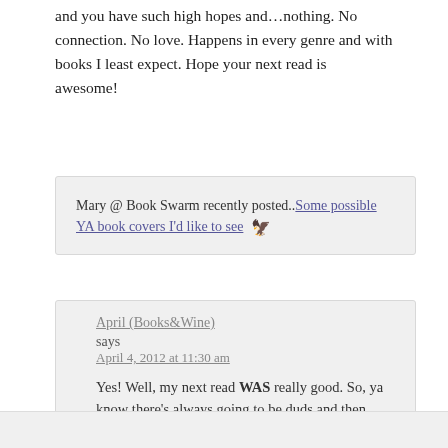and you have such high hopes and…nothing. No connection. No love. Happens in every genre and with books I least expect. Hope your next read is awesome!
Mary @ Book Swarm recently posted..Some possible YA book covers I'd like to see 🦅
April (Books&Wine) says
April 4, 2012 at 11:30 am

Yes! Well, my next read WAS really good. So, ya know there's always going to be duds and then stand out reads.